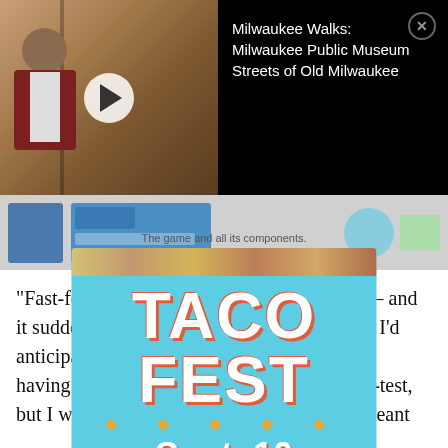[Figure (screenshot): Video thumbnail showing a man in a red vest and bow tie, with a play button overlay. Dark background.]
Milwaukee Walks:
Milwaukee Public Museum
Streets of Old Milwaukee
[Figure (screenshot): Horizontal strip showing a second screenshot from a different context, partially visible with app UI elements.]
The game and all its components.
[Figure (infographic): Taco Fest advertisement overlay. Large colorful text reading TACO FEST Sept. 10, with a Get tickets button on a teal background.]
"Fast-forward a little bit – post inauguration – and it suddenly became a much bigger topic than I'd anticipated. I was a month or two away from having a working prototype that I could play-test, but I was glad I already had a head start: it meant